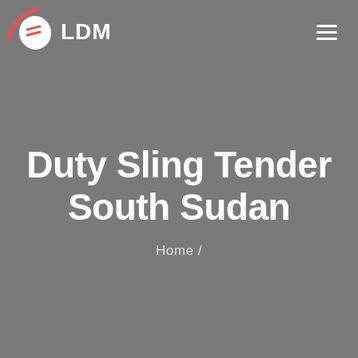LDM
Duty Sling Tender South Sudan
Home /